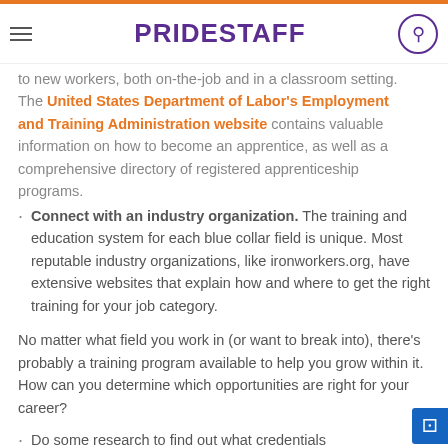PRIDESTAFF
to new workers, both on-the-job and in a classroom setting. The United States Department of Labor's Employment and Training Administration website contains valuable information on how to become an apprentice, as well as a comprehensive directory of registered apprenticeship programs.
Connect with an industry organization. The training and education system for each blue collar field is unique. Most reputable industry organizations, like ironworkers.org, have extensive websites that explain how and where to get the right training for your job category.
No matter what field you work in (or want to break into), there's probably a training program available to help you grow within it. How can you determine which opportunities are right for your career?
Do some research to find out what credentials...